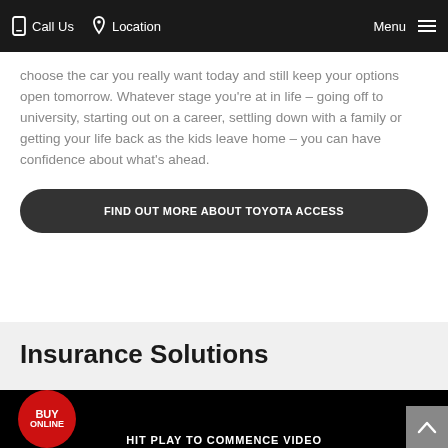Call Us  Location  Menu
choose the car you really want today and still keep your options open tomorrow. Whatever stage you're at in life – going off to university, starting out on a career, settling down with a family or getting your life back as the kids leave home – you can have confidence about what's ahead.
FIND OUT MORE ABOUT TOYOTA ACCESS
Insurance Solutions
[Figure (screenshot): Black video thumbnail area with 'BUY ONLINE' red circular badge on left and grey scroll-to-top arrow button on right, with partial text 'HIT PLAY TO COMMENCE VIDEO' at bottom]